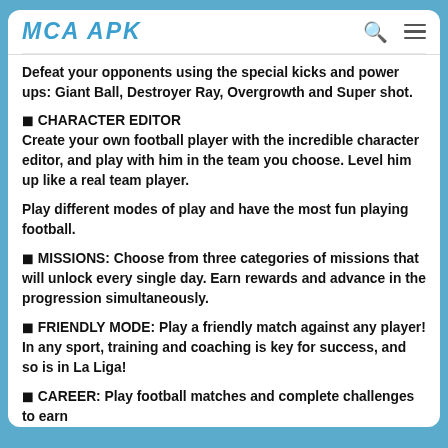MCA APK
Defeat your opponents using the special kicks and power ups: Giant Ball, Destroyer Ray, Overgrowth and Super shot.
🔷 CHARACTER EDITOR
Create your own football player with the incredible character editor, and play with him in the team you choose. Level him up like a real team player.
Play different modes of play and have the most fun playing football.
🔷 MISSIONS: Choose from three categories of missions that will unlock every single day. Earn rewards and advance in the progression simultaneously.
🔷 FRIENDLY MODE: Play a friendly match against any player! In any sport, training and coaching is key for success, and so is in La Liga!
🔷 CAREER: Play football matches and complete challenges to earn